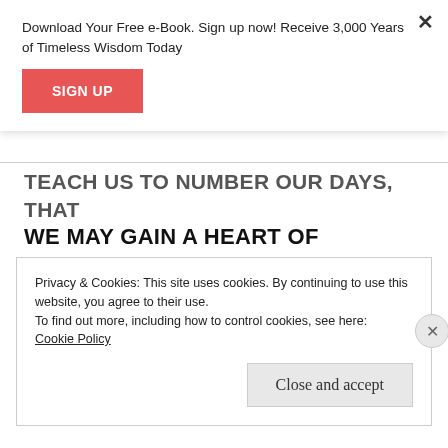Download Your Free e-Book. Sign up now! Receive 3,000 Years of Timeless Wisdom Today
SIGN UP
TEACH US TO NUMBER OUR DAYS, THAT WE MAY GAIN A HEART OF WISDOM. – PSALM 90:12
April 2020
Privacy & Cookies: This site uses cookies. By continuing to use this website, you agree to their use.
To find out more, including how to control cookies, see here:
Cookie Policy
Close and accept